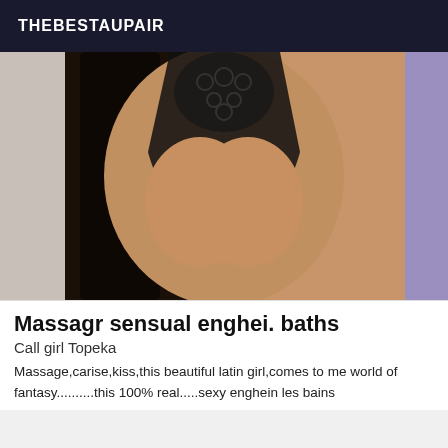THEBESTAUPAIR
[Figure (photo): Photo of a woman in a black lace bodysuit]
Massagr sensual enghei. baths
Call girl Topeka
Massage,carise,kiss,this beautiful latin girl,comes to me world of fantasy..........this 100% real.....sexy enghein les bains